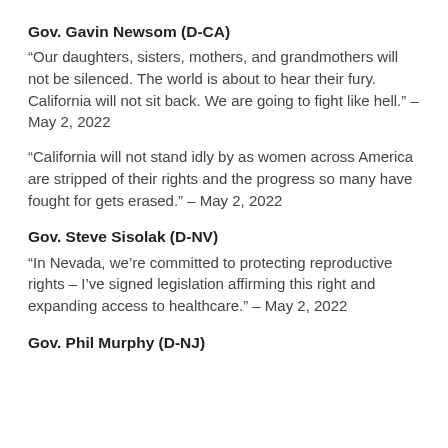Gov. Gavin Newsom (D-CA)
“Our daughters, sisters, mothers, and grandmothers will not be silenced. The world is about to hear their fury. California will not sit back. We are going to fight like hell.” – May 2, 2022
“California will not stand idly by as women across America are stripped of their rights and the progress so many have fought for gets erased.” – May 2, 2022
Gov. Steve Sisolak (D-NV)
“In Nevada, we’re committed to protecting reproductive rights – I’ve signed legislation affirming this right and expanding access to healthcare.” – May 2, 2022
Gov. Phil Murphy (D-NJ)